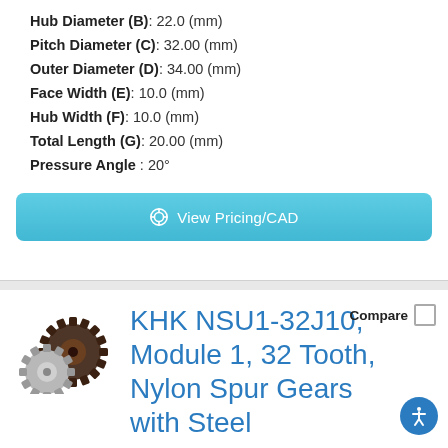Hub Diameter (B): 22.0 (mm)
Pitch Diameter (C): 32.00 (mm)
Outer Diameter (D): 34.00 (mm)
Face Width (E): 10.0 (mm)
Hub Width (F): 10.0 (mm)
Total Length (G): 20.00 (mm)
Pressure Angle : 20°
View Pricing/CAD
[Figure (photo): Two KHK spur gears, one dark brown/black toothed gear and one silver metallic hub gear]
KHK NSU1-32J10, Module 1, 32 Tooth, Nylon Spur Gears with Steel